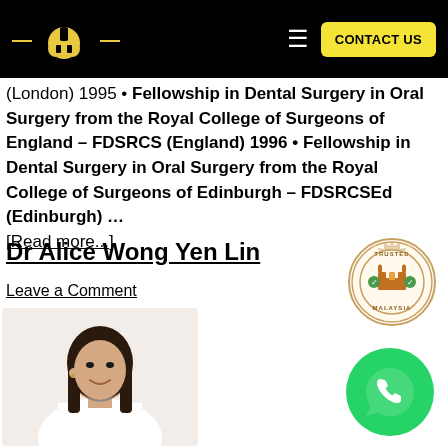Navigation bar with logo and CONTACT US button
(London) 1995 • Fellowship in Dental Surgery in Oral Surgery from the Royal College of Surgeons of England – FDSRCS (England) 1996 • Fellowship in Dental Surgery in Oral Surgery from the Royal College of Surgeons of Edinburgh – FDSRCSEd (Edinburgh) … [Read more...]
Dr Alice Wong Yen Lin
Leave a Comment
[Figure (illustration): Trusted Malaysia badge/seal with building icon]
[Figure (photo): Portrait photo of Dr Alice Wong Yen Lin, a woman in white coat with long dark hair, smiling]
[Figure (logo): WhatsApp green circle button with phone icon]